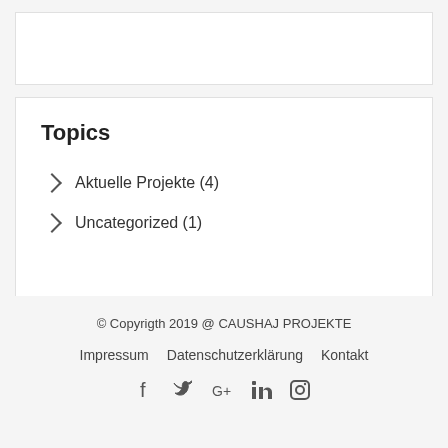Topics
Aktuelle Projekte (4)
Uncategorized (1)
© Copyrigth 2019 @ CAUSHAJ PROJEKTE
Impressum   Datenschutzerklärung   Kontakt